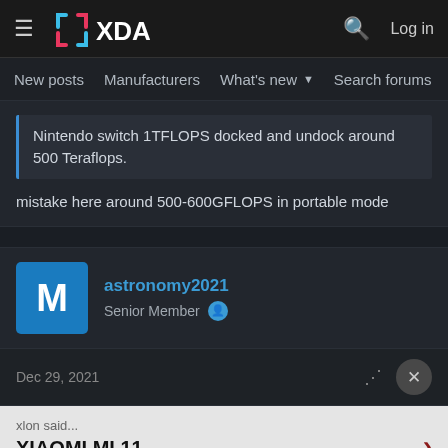XDA Developers | New posts | Manufacturers | What's new | Search forums | Membe
Nintendo switch 1TFLOPS docked and undock around 500 Teraflops.
mistake here around 500-600GFLOPS in portable mode
astronomy2021
Senior Member
Dec 29, 2021
xlon said...
XIAOMI MI 11
mistake here around 500-600GFLOPS in portable mode